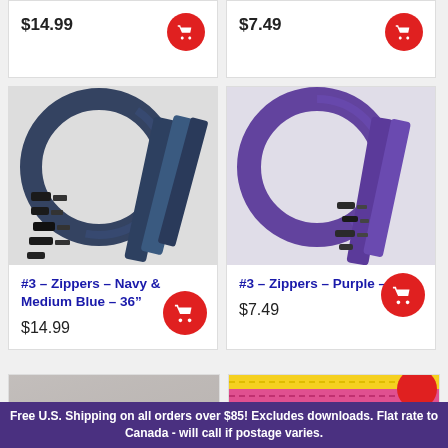$14.99
$7.49
[Figure (photo): Navy and medium blue zippers coiled with black zipper pulls]
#3 – Zippers – Navy & Medium Blue – 36"
$14.99
[Figure (photo): Purple zippers coiled with dark metal zipper pulls]
#3 – Zippers – Purple – 36"
$7.49
[Figure (photo): Partial product image - gray/white background]
[Figure (photo): Partial product image showing colorful zippers in multiple colors]
Free U.S. Shipping on all orders over $85! Excludes downloads. Flat rate to Canada - will call if postage varies.